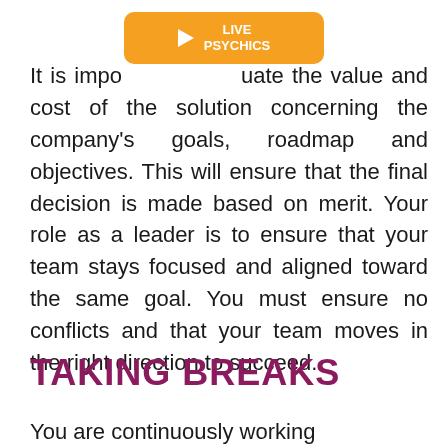[Figure (other): Orange 'LIVE PSYCHICS' advertisement banner with play button triangle icon]
It is important to evaluate the value and cost of the solution concerning the company's goals, roadmap and objectives. This will ensure that the final decision is made based on merit. Your role as a leader is to ensure that your team stays focused and aligned toward the same goal. You must ensure no conflicts and that your team moves in the right direction to succeed.
TAKING BREAKS
You are continuously working